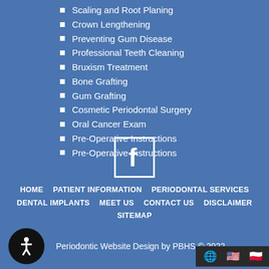Scaling and Root Planing
Crown Lengthening
Preventing Gum Disease
Professional Teeth Cleaning
Bruxism Treatment
Bone Grafting
Gum Grafting
Cosmetic Periodontal Surgery
Oral Cancer Exam
Pre-Operative Instructions
Pre-Operative Instructions
HOME  PATIENT INFORMATION  PERIODONTAL SERVICES  DENTAL IMPLANTS  MEET US  CONTACT US  DISCLAIMER  SITEMAP  Periodontic Website Design by PBHS © 2022